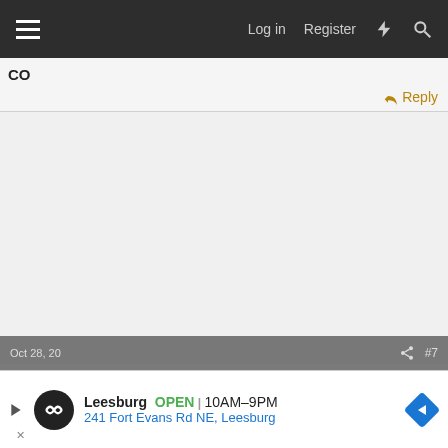Log in  Register
CO
Reply
[Figure (screenshot): Empty light gray content area of a forum post]
Oct 28, 20  #7
[Figure (infographic): Advertisement banner: Leesburg OPEN 10AM-9PM, 241 Fort Evans Rd NE, Leesburg]